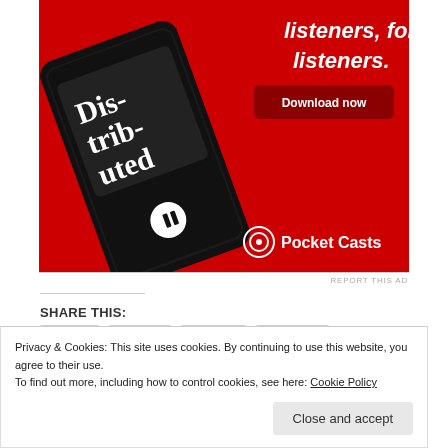[Figure (illustration): Pocket Casts app advertisement banner on red background, showing a smartphone with 'Distributed' podcast, text 'listeners, for listeners.', 'Download now' button, and Pocket Casts logo]
REPORT THIS AD
SHARE THIS:
Email
Twitter
Pocket
Pinterest
Facebook
Reddit
Privacy & Cookies: This site uses cookies. By continuing to use this website, you agree to their use.
To find out more, including how to control cookies, see here: Cookie Policy
Close and accept